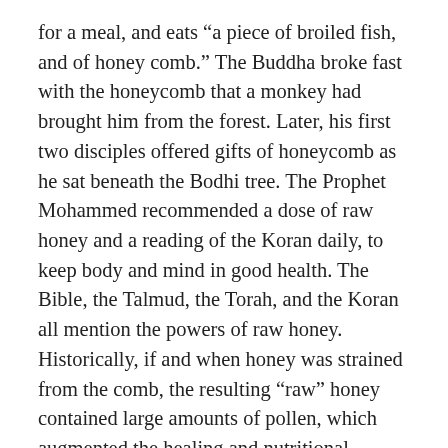for a meal, and eats “a piece of broiled fish, and of honey comb.” The Buddha broke fast with the honeycomb that a monkey had brought him from the forest. Later, his first two disciples offered gifts of honeycomb as he sat beneath the Bodhi tree. The Prophet Mohammed recommended a dose of raw honey and a reading of the Koran daily, to keep body and mind in good health. The Bible, the Talmud, the Torah, and the Koran all mention the powers of raw honey. Historically, if and when honey was strained from the comb, the resulting “raw” honey contained large amounts of pollen, which augmented the healing and nutritional benefits attributed to honey.
The fifth-century Greek writer and doctor Hippocrates extolled the healing powers of raw